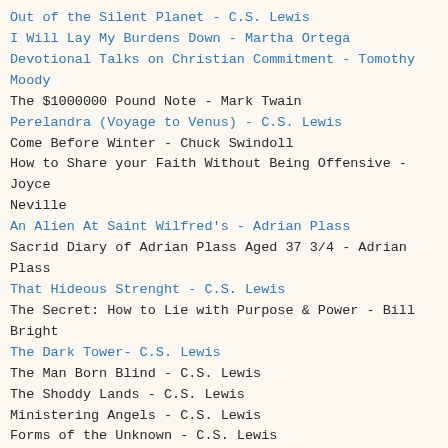Out of the Silent Planet - C.S. Lewis
I Will Lay My Burdens Down - Martha Ortega
Devotional Talks on Christian Commitment - Tomothy Moody
The $1000000 Pound Note - Mark Twain
Perelandra (Voyage to Venus) - C.S. Lewis
Come Before Winter - Chuck Swindoll
How to Share your Faith Without Being Offensive - Joyce Neville
An Alien At Saint Wilfred's - Adrian Plass
Sacrid Diary of Adrian Plass Aged 37 3/4 - Adrian Plass
That Hideous Strenght - C.S. Lewis
The Secret: How to Lie with Purpose & Power - Bill Bright
The Dark Tower- C.S. Lewis
The Man Born Blind - C.S. Lewis
The Shoddy Lands - C.S. Lewis
Ministering Angels - C.S. Lewis
Forms of the Unknown - C.S. Lewis
After 10 Years - C.S. Lewis
The 12th Door - Richard F. Miniter
Evil & Good - C.S. Lewis